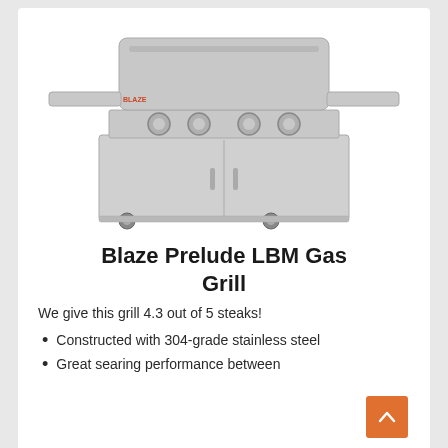[Figure (photo): Blaze Prelude LBM Gas Grill on a cart with stainless steel cabinet and four burner knobs]
Blaze Prelude LBM Gas Grill
We give this grill 4.3 out of 5 steaks!
Constructed with 304-grade stainless steel
Great searing performance between